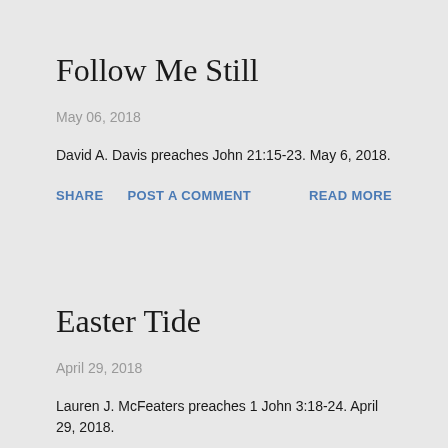Follow Me Still
May 06, 2018
David A. Davis preaches John 21:15-23. May 6, 2018.
SHARE   POST A COMMENT   READ MORE
Easter Tide
April 29, 2018
Lauren J. McFeaters preaches 1 John 3:18-24. April 29, 2018.